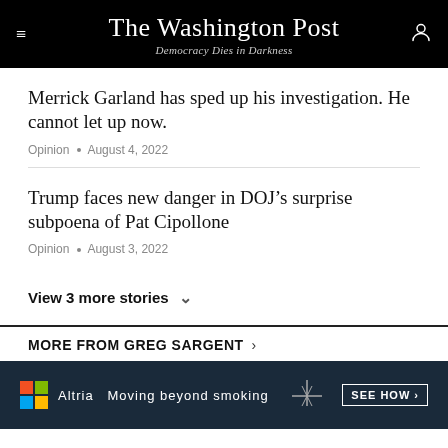The Washington Post — Democracy Dies in Darkness
Merrick Garland has sped up his investigation. He cannot let up now.
Opinion • August 4, 2022
Trump faces new danger in DOJ’s surprise subpoena of Pat Cipollone
Opinion • August 3, 2022
View 3 more stories
MORE FROM GREG SARGENT
[Figure (photo): Altria advertisement: Moving beyond smoking — SEE HOW]